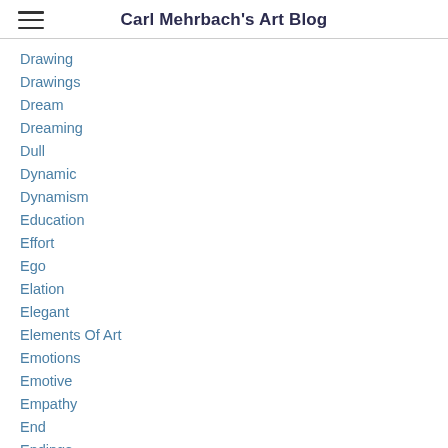Carl Mehrbach's Art Blog
Drawing
Drawings
Dream
Dreaming
Dull
Dynamic
Dynamism
Education
Effort
Ego
Elation
Elegant
Elements Of Art
Emotions
Emotive
Empathy
End
Endings